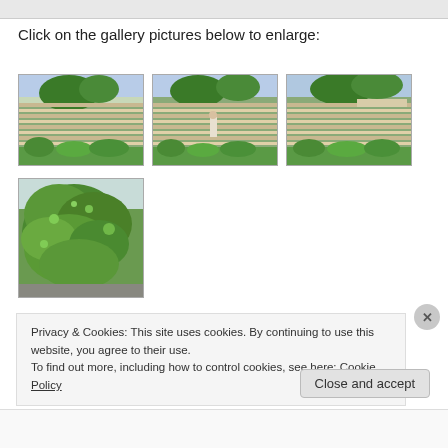Click on the gallery pictures below to enlarge:
[Figure (photo): Three thumbnail photos of a building with horizontal louvers/slats and trees/plants in front. The first shows the building facade with green plants, the second shows a person standing in front, the third shows another view of the facade.]
[Figure (photo): A close-up photo of a tree with dense green foliage.]
Privacy & Cookies: This site uses cookies. By continuing to use this website, you agree to their use.
To find out more, including how to control cookies, see here: Cookie Policy
Close and accept